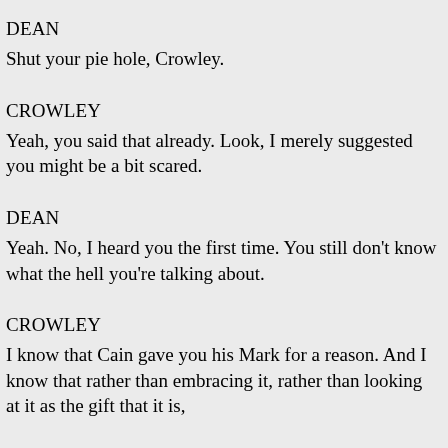DEAN
Shut your pie hole, Crowley.
CROWLEY
Yeah, you said that already. Look, I merely suggested you might be a bit scared.
DEAN
Yeah. No, I heard you the first time. You still don't know what the hell you're talking about.
CROWLEY
I know that Cain gave you his Mark for a reason. And I know that rather than embracing it, rather than looking at it as the gift that it is,